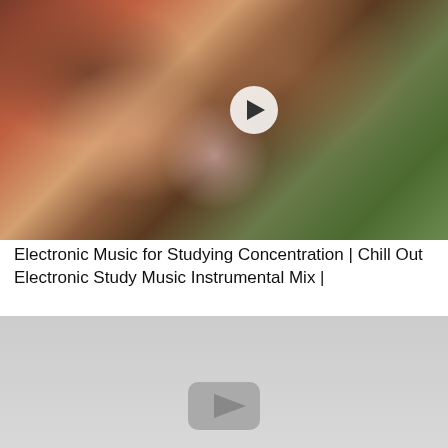[Figure (screenshot): Video thumbnail showing a young girl wearing large round sunglasses and headphones, blowing a bubble gum bubble. A white circular play button overlay is visible in the center-right area. Background is blurred green foliage.]
Electronic Music for Studying Concentration | Chill Out Electronic Study Music Instrumental Mix |
[Figure (screenshot): Partially visible second video thumbnail with light gray background, showing the bottom portion of a YouTube-style play button icon.]